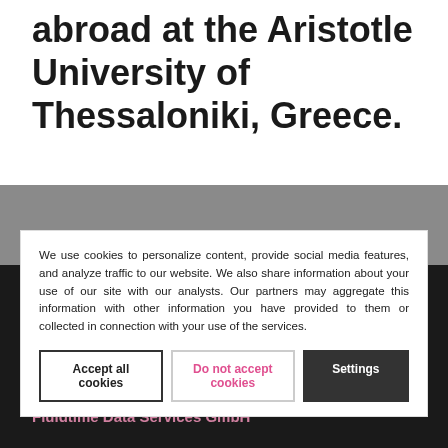abroad at the Aristotle University of Thessaloniki, Greece.
Interesting Links
AB...
B...
Fluidtime Measurement...
We use cookies to personalize content, provide social media features, and analyze traffic to our website. We also share information about your use of our site with our analysts. Our partners may aggregate this information with other information you have provided to them or collected in connection with your use of the services.
Accept all cookies
Do not accept cookies
Settings
Fluidtime Data Services GmbH